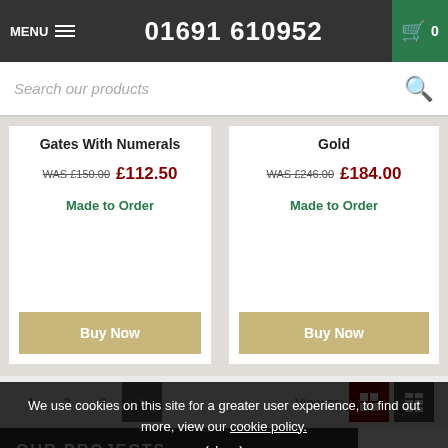MENU  01691 610952  [cart: 0]
Search our products
Gates With Numerals
WAS £150.00  £112.50
Made to Order
Buy Now
Gold
WAS £246.00  £184.00
Made to Order
Buy Now
1  2  3  >  View as:
OUR PROJECTS
We use cookies on this site for a greater user experience, to find out more, view our cookie policy.
(close)